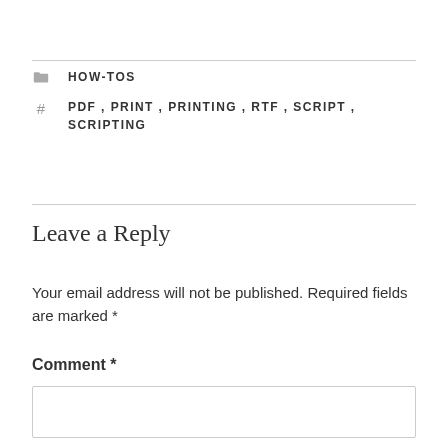HOW-TOS
PDF, PRINT, PRINTING, RTF, SCRIPT, SCRIPTING
Leave a Reply
Your email address will not be published. Required fields are marked *
Comment *